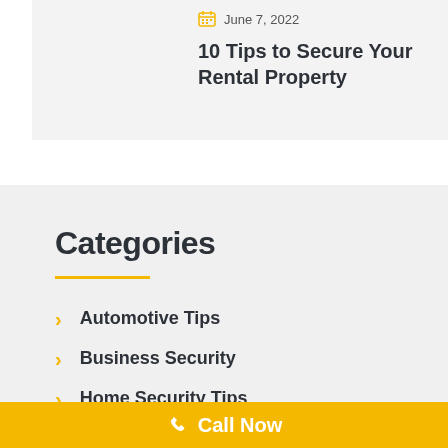June 7, 2022
10 Tips to Secure Your Rental Property
Categories
Automotive Tips
Business Security
Home Security Tips
Call Now